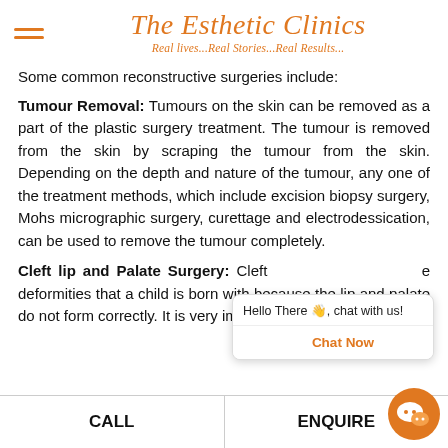The Esthetic Clinics — Real lives...Real Stories...Real Results...
Some common reconstructive surgeries include:
Tumour Removal: Tumours on the skin can be removed as a part of the plastic surgery treatment. The tumour is removed from the skin by scraping the tumour from the skin. Depending on the depth and nature of the tumour, any one of the treatment methods, which include excision biopsy surgery, Mohs micrographic surgery, curettage and electrodessication, can be used to remove the tumour completely.
Cleft lip and Palate Surgery: Cleft ... deformities that a child is born with because the lip and palate do not form correctly. It is very important that...
[Figure (screenshot): Chat popup widget with 'Hello There 👋, chat with us!' header and 'Chat Now' orange button]
[Figure (logo): WeChat orange chat bubble icon in bottom right corner]
CALL | ENQUIRE